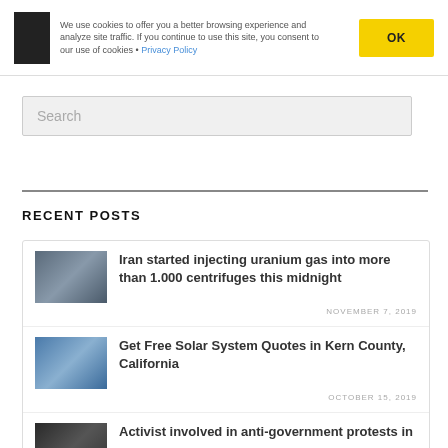We use cookies to offer you a better browsing experience and analyze site traffic. If you continue to use this site, you consent to our use of cookies • Privacy Policy
Search
RECENT POSTS
Iran started injecting uranium gas into more than 1.000 centrifuges this midnight — NOVEMBER 7, 2019
Get Free Solar System Quotes in Kern County, California — OCTOBER 15, 2019
Activist involved in anti-government protests in…